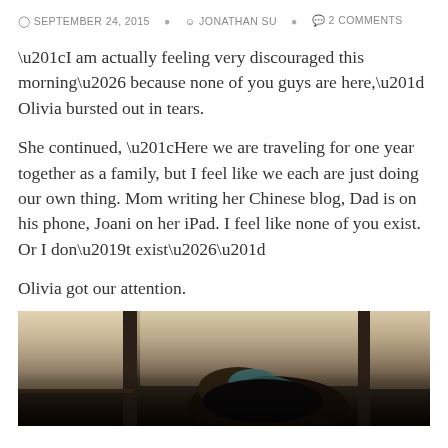SEPTEMBER 24, 2015   JONATHAN SU   2 COMMENTS
“I am actually feeling very discouraged this morning… because none of you guys are here,” Olivia bursted out in tears.
She continued, “Here we are traveling for one year together as a family, but I feel like we each are just doing our own thing. Mom writing her Chinese blog, Dad is on his phone, Joani on her iPad. I feel like none of you exist. Or I don’t exist…”
Olivia got our attention.
[Figure (photo): A person sitting on a train or bus, viewed from above, appears to be leaning over or sleeping, with windows visible in the background letting in light.]